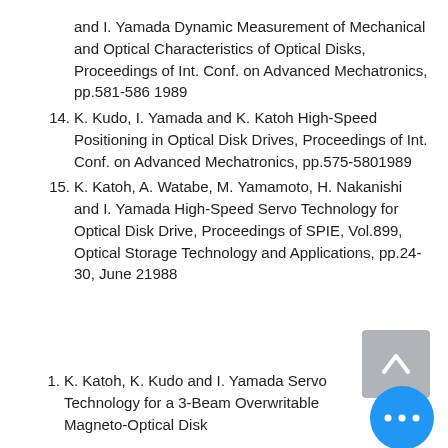and I. Yamada Dynamic Measurement of Mechanical and Optical Characteristics of Optical Disks, Proceedings of Int. Conf. on Advanced Mechatronics, pp.581-586 1989
14. K. Kudo, I. Yamada and K. Katoh High-Speed Positioning in Optical Disk Drives, Proceedings of Int. Conf. on Advanced Mechatronics, pp.575-5801989
15. K. Katoh, A. Watabe, M. Yamamoto, H. Nakanishi and I. Yamada High-Speed Servo Technology for Optical Disk Drive, Proceedings of SPIE, Vol.899, Optical Storage Technology and Applications, pp.24-30, June 21988
1. K. Katoh, K. Kudo and I. Yamada Servo Technology for a 3-Beam Overwritable Magneto-Optical Disk